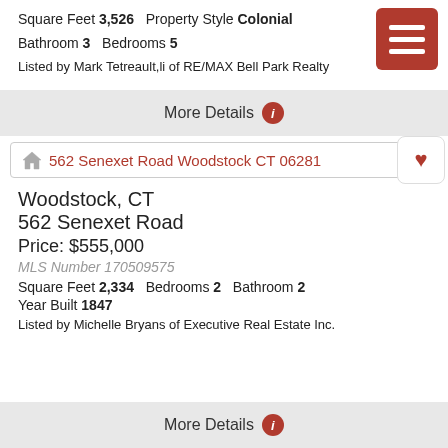Square Feet 3,526   Property Style Colonial
Bathroom 3   Bedrooms 5
Listed by Mark Tetreault,li of RE/MAX Bell Park Realty
More Details
562 Senexet Road Woodstock CT 06281
Woodstock, CT
562 Senexet Road
Price: $555,000
MLS Number 170509575
Square Feet 2,334   Bedrooms 2   Bathroom 2
Year Built 1847
Listed by Michelle Bryans of Executive Real Estate Inc.
More Details